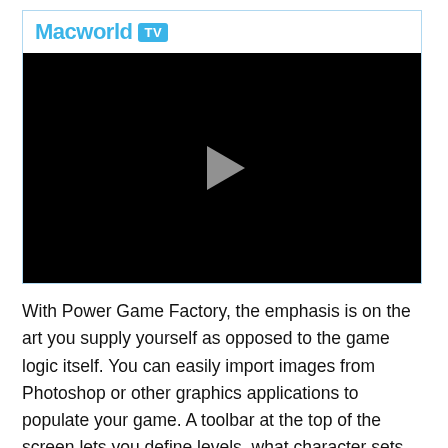[Figure (screenshot): Macworld TV video player widget with black video area showing a grey play button in the center, and a 'Macworld TV' header with blue text and blue TV badge.]
With Power Game Factory, the emphasis is on the art you supply yourself as opposed to the game logic itself. You can easily import images from Photoshop or other graphics applications to populate your game. A toolbar at the top of the screen lets you define levels, what character sets